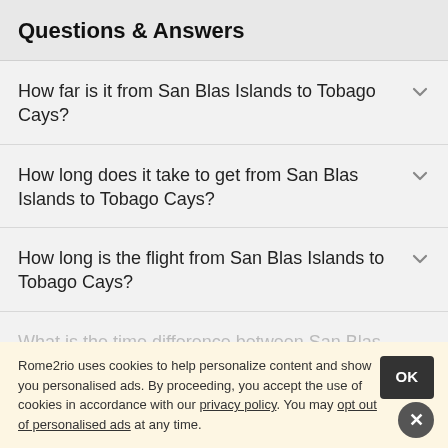Questions & Answers
How far is it from San Blas Islands to Tobago Cays?
How long does it take to get from San Blas Islands to Tobago Cays?
How long is the flight from San Blas Islands to Tobago Cays?
What is the time difference between San Blas Islands
Rome2rio uses cookies to help personalize content and show you personalised ads. By proceeding, you accept the use of cookies in accordance with our privacy policy. You may opt out of personalised ads at any time.